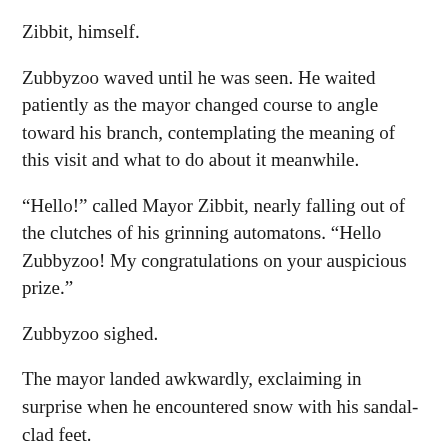Zibbit, himself.
Zubbyzoo waved until he was seen. He waited patiently as the mayor changed course to angle toward his branch, contemplating the meaning of this visit and what to do about it meanwhile.
“Hello!” called Mayor Zibbit, nearly falling out of the clutches of his grinning automatons. “Hello Zubbyzoo! My congratulations on your auspicious prize.”
Zubbyzoo sighed.
The mayor landed awkwardly, exclaiming in surprise when he encountered snow with his sandal-clad feet.
“Why, it burns!” he howled in a mixture of laughter and astonishment.